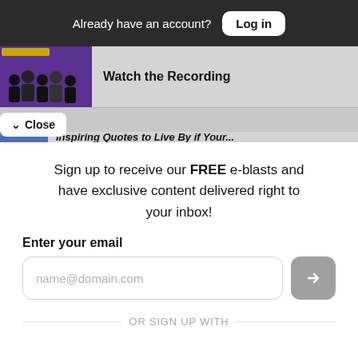Already have an account?  Log in
[Figure (screenshot): Partially visible website content in background showing a thumbnail image with a group of people and the text 'Watch the Recording', plus a Close button and another partially visible card below]
Sign up to receive our FREE e-blasts and have exclusive content delivered right to your inbox!
Enter your email
name@domain.com
OR SIGN UP WITH